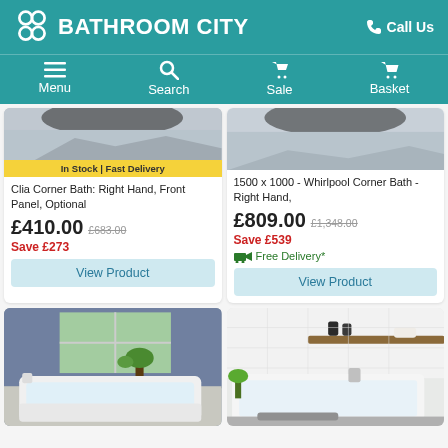BATHROOM CITY — Call Us
Menu  Search  Sale  Basket
In Stock | Fast Delivery
Clia Corner Bath: Right Hand, Front Panel, Optional
£410.00  £683.00  Save £273
View Product
1500 x 1000 - Whirlpool Corner Bath - Right Hand,
£809.00  £1,348.00  Save £539
Free Delivery*
View Product
[Figure (photo): White corner bathtub in a bathroom with large window and plant]
[Figure (photo): White rectangular bathtub in a modern bathroom with wooden shelf]